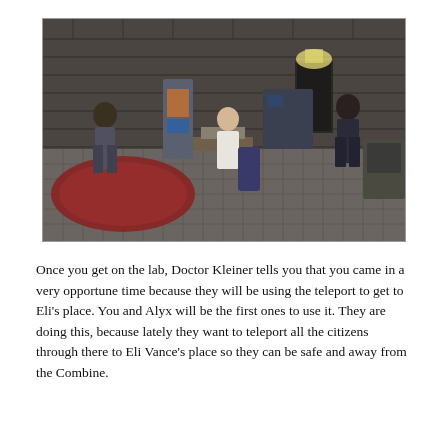[Figure (screenshot): A screenshot from a video game (Half-Life 2) showing an indoor warehouse-like setting with brick walls, tiled floor, and several characters: one on the left near a rug, one in a white coat at a workbench in the center, and one on the right near a door. There is equipment and machinery in the background.]
Once you get on the lab, Doctor Kleiner tells you that you came in a very opportune time because they will be using the teleport to get to Eli's place. You and Alyx will be the first ones to use it. They are doing this, because lately they want to teleport all the citizens through there to Eli Vance's place so they can be safe and away from the Combine.